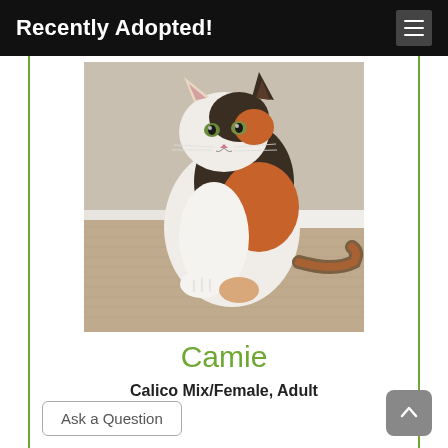Recently Adopted!
[Figure (photo): A calico cat sitting on a textured beige carpet against a beige wall with white baseboard. The cat has white, orange, and dark brown/black markings and is looking at the camera.]
Camie
Calico Mix/Female, Adult